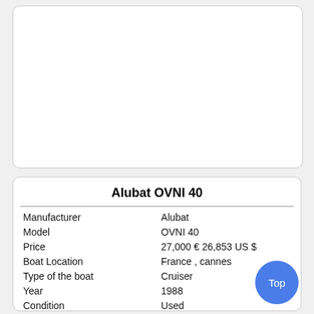[Figure (photo): Empty white rounded rectangle placeholder for a boat image]
Alubat OVNI 40
| Manufacturer | Alubat |
| Model | OVNI 40 |
| Price | 27,000 € 26,853 US $ |
| Boat Location | France , cannes |
| Type of the boat | Cruiser |
| Year | 1988 |
| Condition | Used |
| Hull form | Monohull |
| Material | Fiberglass |